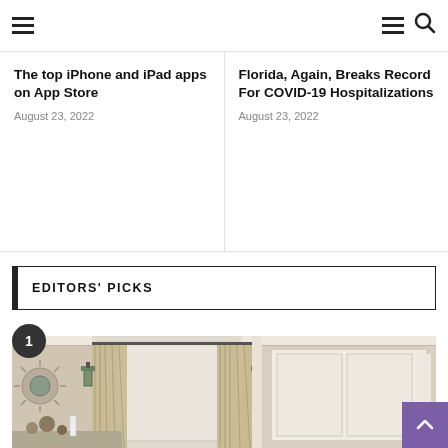Navigation bar with hamburger menu and search icon
The top iPhone and iPad apps on App Store
August 23, 2022
Florida, Again, Breaks Record For COVID-19 Hospitalizations
August 23, 2022
EDITORS' PICKS
[Figure (photo): Interior room photo showing curtains, wall sconces, decorative mirror, and furniture]
Scroll to top button